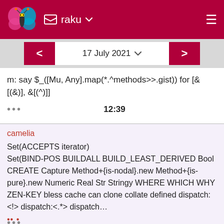raku
17 July 2021
m: say $_ ([Mu, Any].map(*.^methods>>.gist)) for [&[(&)], &[(^)]]
12:39
camelia
Set(ACCEPTS iterator)
Set(BIND-POS BUILDALL BUILD_LEAST_DERIVED Bool CREATE Capture Method+{is-nodal}.new Method+{is-pure}.new Numeric Real Str Stringy WHERE WHICH WHY ZEN-KEY bless cache can clone collate defined dispatch:<!> dispatch:<.*> dispatch…